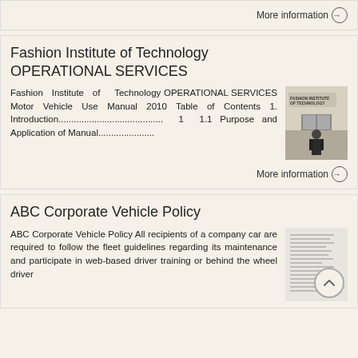More information →
Fashion Institute of Technology OPERATIONAL SERVICES
Fashion Institute of Technology OPERATIONAL SERVICES Motor Vehicle Use Manual 2010 Table of Contents 1. Introduction.......................................... 1 1.1 Purpose and Application of Manual......................
[Figure (photo): Photo of a person standing in front of Fashion Institute of Technology building entrance]
More information →
ABC Corporate Vehicle Policy
ABC Corporate Vehicle Policy All recipients of a company car are required to follow the fleet guidelines regarding its maintenance and participate in web-based driver training or behind the wheel driver
[Figure (photo): Document thumbnail showing text document pages]